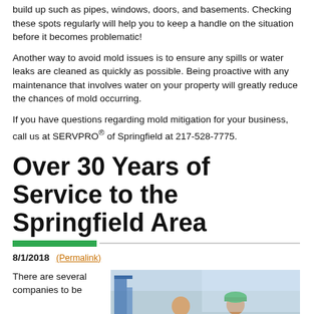build up such as pipes, windows, doors, and basements. Checking these spots regularly will help you to keep a handle on the situation before it becomes problematic!
Another way to avoid mold issues is to ensure any spills or water leaks are cleaned as quickly as possible. Being proactive with any maintenance that involves water on your property will greatly reduce the chances of mold occurring.
If you have questions regarding mold mitigation for your business, call us at SERVPRO® of Springfield at 217-528-7775.
Over 30 Years of Service to the Springfield Area
8/1/2018 (Permalink)
There are several companies to...
[Figure (photo): Two workers in an industrial setting, one wearing a green hard hat]